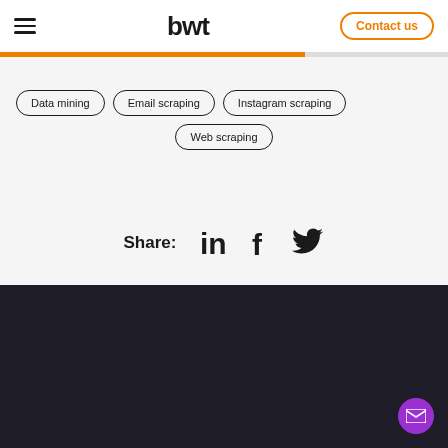bwt | Contact us
Data mining
Email scraping
Instagram scraping
Web scraping
Share:
[Figure (illustration): Social media sharing icons: LinkedIn, Facebook, Twitter]
[Figure (illustration): Dark footer section of website]
[Figure (illustration): Purple circular mail/chat button in bottom right corner]